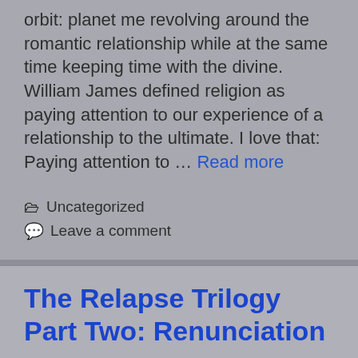orbit: planet me revolving around the romantic relationship while at the same time keeping time with the divine.  William James defined religion as paying attention to our experience of a relationship to the ultimate. I love that: Paying attention to … Read more
Uncategorized
Leave a comment
The Relapse Trilogy Part Two: Renunciation
February 9, 2022 by wpadmin